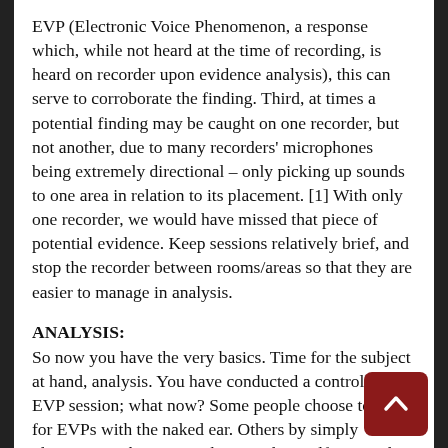EVP (Electronic Voice Phenomenon, a response which, while not heard at the time of recording, is heard on recorder upon evidence analysis), this can serve to corroborate the finding. Third, at times a potential finding may be caught on one recorder, but not another, due to many recorders' microphones being extremely directional – only picking up sounds to one area in relation to its placement. [1] With only one recorder, we would have missed that piece of potential evidence. Keep sessions relatively brief, and stop the recorder between rooms/areas so that they are easier to manage in analysis.
ANALYSIS:
So now you have the very basics. Time for the subject at hand, analysis. You have conducted a controlled EVP session; what now? Some people choose to listen for EVPs with the naked ear. Others by simply plugging earphones into the recorder itself. Depending on your